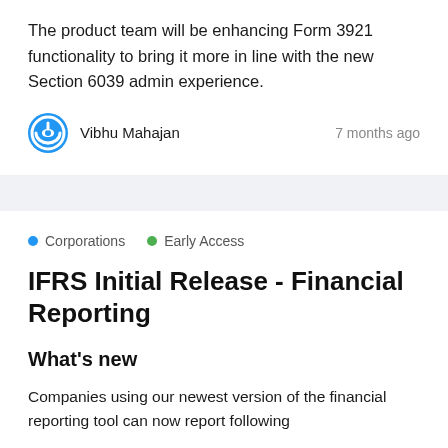The product team will be enhancing Form 3921 functionality to bring it more in line with the new Section 6039 admin experience.
Vibhu Mahajan
7 months ago
Corporations   Early Access
IFRS Initial Release - Financial Reporting
What's new
Companies using our newest version of the financial reporting tool can now report following